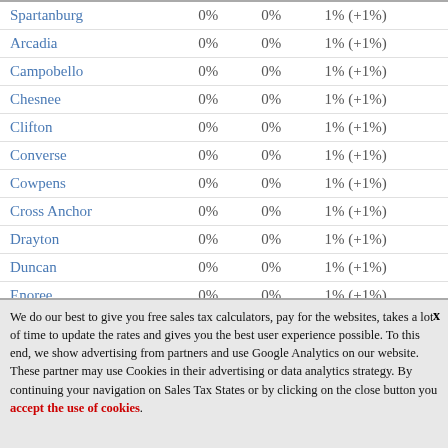| Location |  |  |  |
| --- | --- | --- | --- |
| Spartanburg | 0% | 0% | 1% (+1%) |
| Arcadia | 0% | 0% | 1% (+1%) |
| Campobello | 0% | 0% | 1% (+1%) |
| Chesnee | 0% | 0% | 1% (+1%) |
| Clifton | 0% | 0% | 1% (+1%) |
| Converse | 0% | 0% | 1% (+1%) |
| Cowpens | 0% | 0% | 1% (+1%) |
| Cross Anchor | 0% | 0% | 1% (+1%) |
| Drayton | 0% | 0% | 1% (+1%) |
| Duncan | 0% | 0% | 1% (+1%) |
| Enoree | 0% | 0% | 1% (+1%) |
We do our best to give you free sales tax calculators, pay for the websites, takes a lot of time to update the rates and gives you the best user experience possible. To this end, we show advertising from partners and use Google Analytics on our website. These partner may use Cookies in their advertising or data analytics strategy. By continuing your navigation on Sales Tax States or by clicking on the close button you accept the use of cookies.